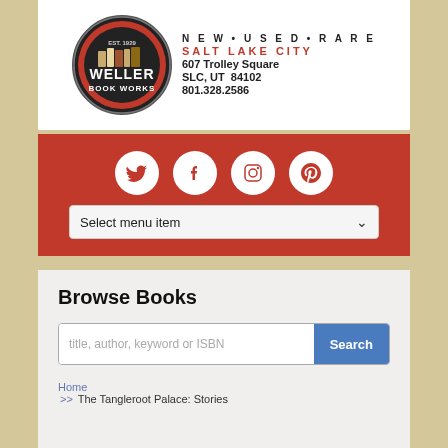[Figure (logo): Weller Book Works logo with red and black circular design, EST. 1929, with books graphic. Text beside: NEW·USED·RARE, SALT LAKE CITY, 607 Trolley Square, SLC, UT 84102, 801.328.2586]
[Figure (other): Red social media bar with four white circle icons: Twitter bird, Facebook f, Instagram camera, Pinterest P. Below is a dropdown selector reading 'Select menu item' with a chevron arrow.]
Browse Books
title, author, keyword or ISBN
Search
Home >> The Tangleroot Palace: Stories